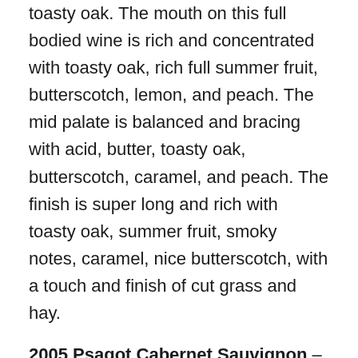toasty oak. The mouth on this full bodied wine is rich and concentrated with toasty oak, rich full summer fruit, butterscotch, lemon, and peach. The mid palate is balanced and bracing with acid, butter, toasty oak, butterscotch, caramel, and peach. The finish is super long and rich with toasty oak, summer fruit, smoky notes, caramel, nice butterscotch, with a touch and finish of cut grass and hay.
2005 Psagot Cabernet Sauvignon – Score: B to B+ The nose on this garnet colored wine shows crushed herbs, cranberry, raspberry, plum, oak, black plum, licorice, chocolate, and tobacco. Over time the nose turns blacker with blackberry and black plum. The mouth on this medium to full bodied wine is spicy and mouth coating with raspberry, plum, and blackberry. The mid palate is a bit astringent with acid, tobacco, nice integrated tannin, and